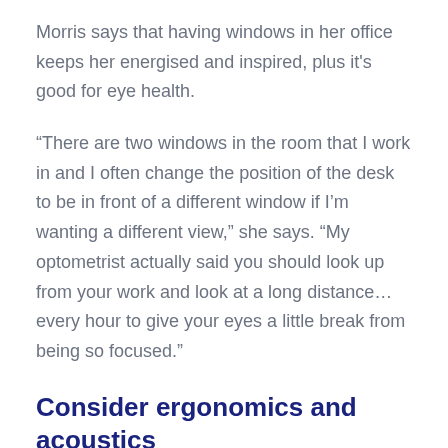Morris says that having windows in her office keeps her energised and inspired, plus it's good for eye health.
“There are two windows in the room that I work in and I often change the position of the desk to be in front of a different window if I’m wanting a different view,” she says. “My optometrist actually said you should look up from your work and look at a long distance… every hour to give your eyes a little break from being so focused.”
Consider ergonomics and acoustics
On the desk with the workpiece, place beside a